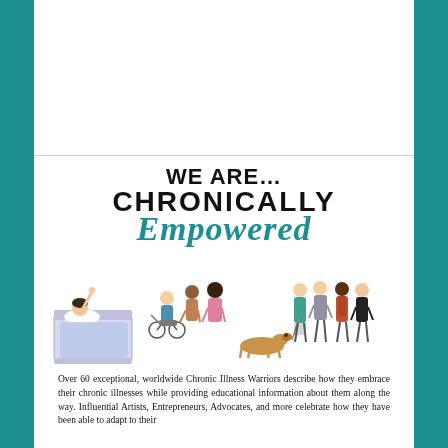[Figure (illustration): Book cover illustration showing the title 'WE ARE... CHRONICALLY Empowered' with diverse group of people including someone in bed, people in wheelchairs, a person with a service dog, and a group of standing individuals.]
Over 60 exceptional, worldwide Chronic Illness Warriors describe how they embrace their chronic illnesses while providing educational information about them along the way. Influential Artists, Entrepreneurs, Advocates, and more celebrate how they have been able to adapt to their